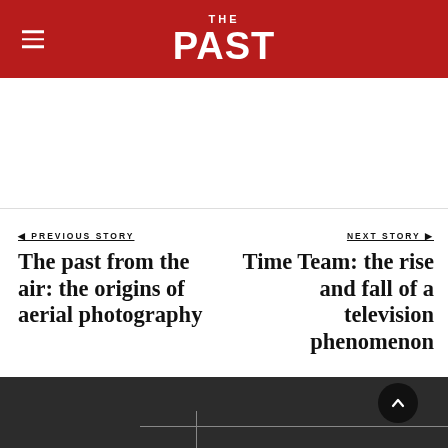THE PAST
PREVIOUS STORY
The past from the air: the origins of aerial photography
NEXT STORY
Time Team: the rise and fall of a television phenomenon
OUR